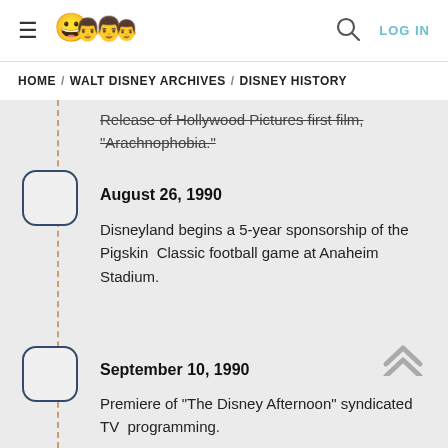≡ [Disney characters logo] 🔍 LOG IN
HOME / WALT DISNEY ARCHIVES / DISNEY HISTORY
Release of Hollywood Pictures first film, "Arachnophobia."
August 26, 1990
Disneyland begins a 5-year sponsorship of the Pigskin Classic football game at Anaheim Stadium.
September 10, 1990
Premiere of “The Disney Afternoon” syndicated TV programming.
November, 1990